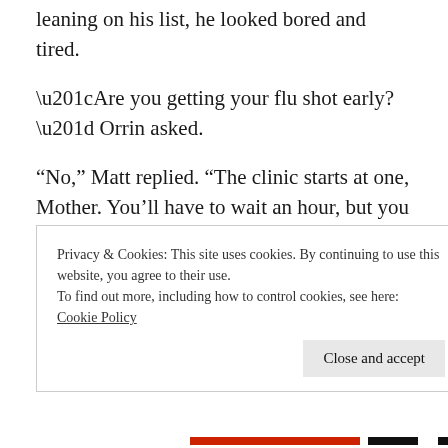leaning on his list, he looked bored and tired.
“Are you getting your flu shot early?” Orrin asked.
“No,” Matt replied. “The clinic starts at one, Mother. You’ll have to wait an hour, but you will be first in line.”
“I have time right now,” Eva said from behind him.
Privacy & Cookies: This site uses cookies. By continuing to use this website, you agree to their use.
To find out more, including how to control cookies, see here:
Cookie Policy
Close and accept